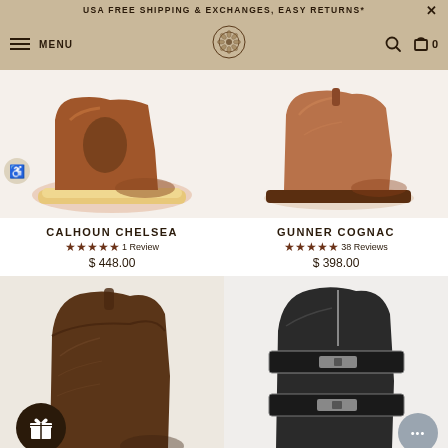USA FREE SHIPPING & EXCHANGES, EASY RETURNS*
[Figure (screenshot): Navigation bar with hamburger menu, MENU label, decorative mandala logo, search and cart icons]
[Figure (photo): Brown leather Chelsea boot (Calhoun Chelsea) on white background, tan crepe sole, elastic side panel]
CALHOUN CHELSEA
★★★★★ 1 Review
$ 448.00
[Figure (photo): Tan/cognac leather boot (Gunner Cognac) on white background, low stacked heel, pull loop at back]
GUNNER COGNAC
★★★★★ 38 Reviews
$ 398.00
[Figure (photo): Dark brown suede short western-style boot, pull loop at back, on white background]
[Figure (photo): Black leather engineer boot with two buckle straps on white background]